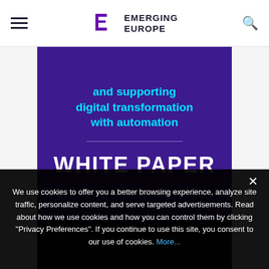Emerging Europe
[Figure (screenshot): Purple banner with cyan bold text 'and supporting digital transformation with automation' and large white text 'WHITE PAPER']
We use cookies to offer you a better browsing experience, analyze site traffic, personalize content, and serve targeted advertisements. Read about how we use cookies and how you can control them by clicking "Privacy Preferences". If you continue to use this site, you consent to our use of cookies. More...